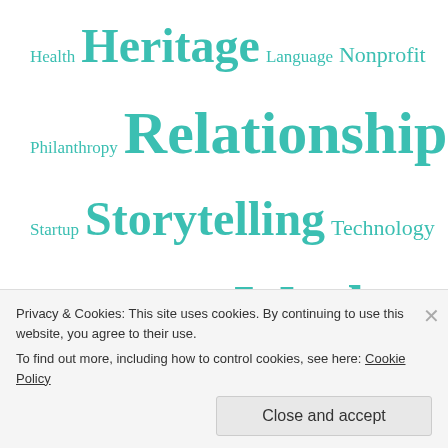Health Heritage Language Nonprofit Philanthropy Relationships Rest Startup Storytelling Technology Uncategorized Work
FOLLOW BLOG VIA EMAIL
Enter your email address to follow this blog and receive notifications of new posts by email.
Privacy & Cookies: This site uses cookies. By continuing to use this website, you agree to their use. To find out more, including how to control cookies, see here: Cookie Policy
Close and accept